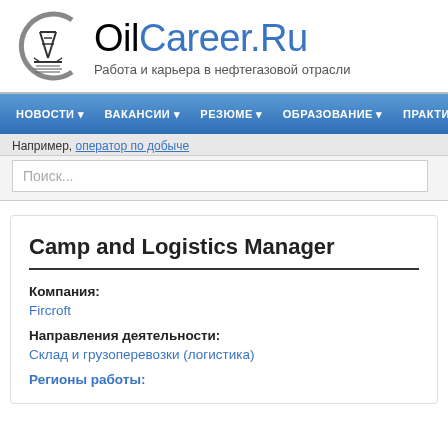OilCareer.Ru — Работа и карьера в нефтегазовой отрасли
[Figure (logo): OilCareer.Ru logo with oil derrick inside letter C]
НОВОСТИ  ВАКАНСИИ  РЕЗЮМЕ  ОБРАЗОВАНИЕ  ПРАКТИКА
Например, оператор по добыче
Поиск...
Camp and Logistics Manager
Компания:
Fircroft
Направления деятельности:
Склад и грузоперевозки (логистика)
Регионы работы: